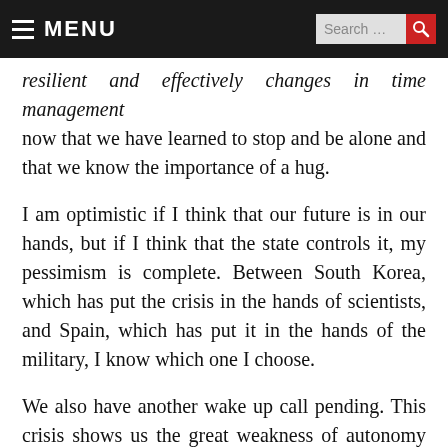MENU | Search ...
…resilient and effectively changes in time management now that we have learned to stop and be alone and that we know the importance of a hug.
I am optimistic if I think that our future is in our hands, but if I think that the state controls it, my pessimism is complete. Between South Korea, which has put the crisis in the hands of scientists, and Spain, which has put it in the hands of the military, I know which one I choose.
We also have another wake up call pending. This crisis shows us the great weakness of autonomy and sooner or later we will have to decide whether we are in favour of life; that is to say, close the country, do mass testing, protect the economy of families and companies, and introduce a guaranteed basic income for all, or if we continue to live in a state that when choosing between the stock market or life, has for now chosen the former and the de-